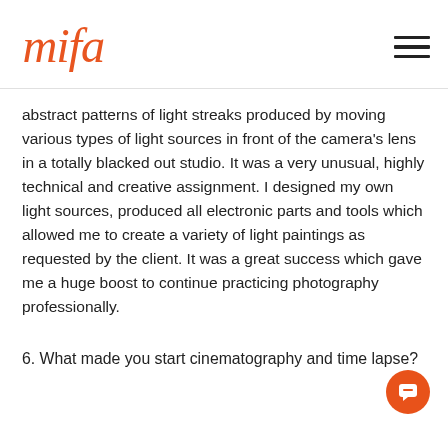mifa
abstract patterns of light streaks produced by moving various types of light sources in front of the camera’s lens in a totally blacked out studio. It was a very unusual, highly technical and creative assignment. I designed my own light sources, produced all electronic parts and tools which allowed me to create a variety of light paintings as requested by the client. It was a great success which gave me a huge boost to continue practicing photography professionally.
6. What made you start cinematography and time lapse?